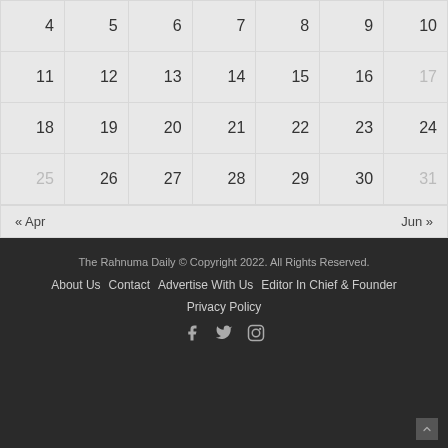| 4 | 5 | 6 | 7 | 8 | 9 | 10 |
| 11 | 12 | 13 | 14 | 15 | 16 | 17 |
| 18 | 19 | 20 | 21 | 22 | 23 | 24 |
| 25 | 26 | 27 | 28 | 29 | 30 | 31 |
« Apr   Jun »
The Rahnuma Daily © Copyright 2022. All Rights Reserved.
About Us  Contact  Advertise With Us  Editor In Chief & Founder
Privacy Policy